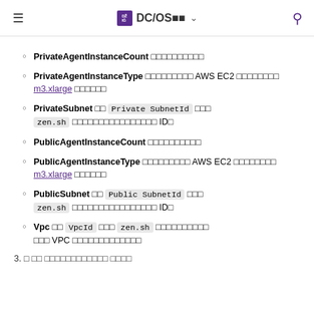DC/OS [logo] ▾
PrivateAgentInstanceCount [squares]
PrivateAgentInstanceType [squares] AWS EC2 [squares] m3.xlarge [squares]
PrivateSubnet [square] Private SubnetId [square] zen.sh [squares] ID[square]
PublicAgentInstanceCount [squares]
PublicAgentInstanceType [squares] AWS EC2 [squares] m3.xlarge [squares]
PublicSubnet [square] Public SubnetId [square] zen.sh [squares] ID[square]
Vpc [square] VpcId [square] zen.sh [squares] VPC [squares]
3. [squares] [squares]